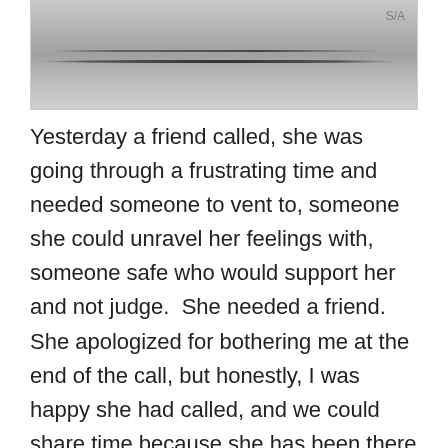[Figure (photo): A close-up photograph of what appears to be a blade or thin elongated metallic/shiny object against a light background, partially visible at the top of the page.]
Yesterday a friend called, she was going through a frustrating time and needed someone to vent to, someone she could unravel her feelings with, someone safe who would support her and not judge.  She needed a friend.  She apologized for bothering me at the end of the call, but honestly, I was happy she had called, and we could share time because she has been there for me. Because of her presence I have a lovely memory of us sitting outside on my front steps this past summer with my dog Abby the night before she took the rainbow bridge.  There was an otherworldly feel to that moment, there was peace.  My friend and I had stopped chatting and I looked at Abby, she was so content, so absorbed in the moment, just being was enough.  This memory has brought me comfort